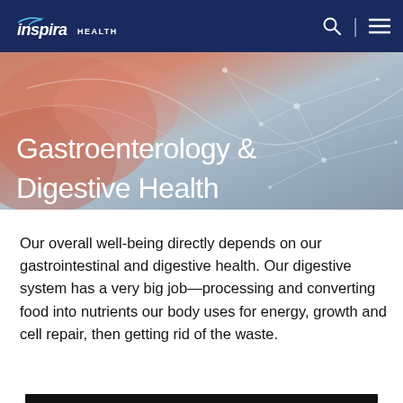inspira HEALTH
[Figure (photo): Hero banner with soft pink/red anatomical background with network overlay lines, showing Gastroenterology & Digestive Health title in white text]
Gastroenterology & Digestive Health
Our overall well-being directly depends on our gastrointestinal and digestive health. Our digestive system has a very big job—processing and converting food into nutrients our body uses for energy, growth and cell repair, then getting rid of the waste.